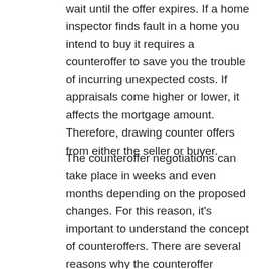wait until the offer expires. If a home inspector finds fault in a home you intend to buy it requires a counteroffer to save you the trouble of incurring unexpected costs. If appraisals come higher or lower, it affects the mortgage amount. Therefore, drawing counter offers from either the seller or buyer.
The counteroffer negotiations can take place in weeks and even months depending on the proposed changes. For this reason, it's important to understand the concept of counteroffers. There are several reasons why the counteroffer negotiations take place.  If the buyer or seller chooses a date that is not suitable for the other party because each of them wants to serve their